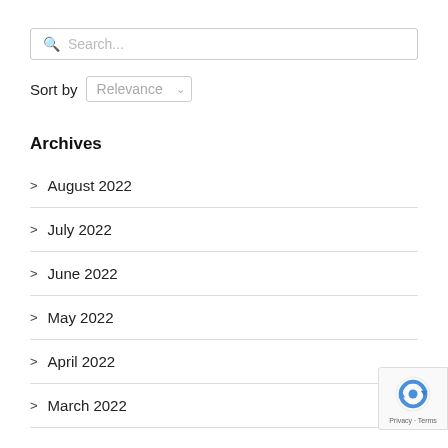[Figure (screenshot): Search input box with magnifying glass icon and 'Search...' placeholder text]
Sort by Relevance
Archives
> August 2022
> July 2022
> June 2022
> May 2022
> April 2022
> March 2022